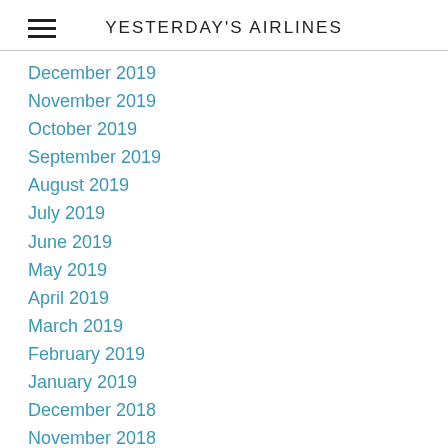YESTERDAY'S AIRLINES
December 2019
November 2019
October 2019
September 2019
August 2019
July 2019
June 2019
May 2019
April 2019
March 2019
February 2019
January 2019
December 2018
November 2018
October 2018
September 2018
August 2018